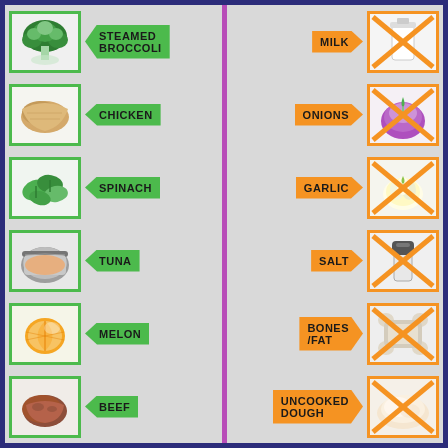[Figure (infographic): Two-column food infographic. Left column (green) lists safe/good foods with green arrow labels: Steamed Broccoli, Chicken, Spinach, Tuna, Melon, Beef. Right column (orange) lists foods to avoid with orange arrow labels: Milk, Onions, Garlic, Salt, Bones/Fat, Uncooked Dough. Each entry has a photo. Avoid items have an X cross overlay on the image.]